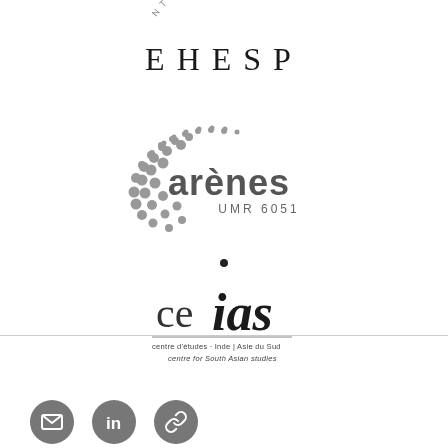[Figure (logo): EHESP logo with partial arc text 'NTE PUB' above and large spaced letters 'EHESP']
[Figure (logo): Arenes UMR 6051 logo with dotted arc pattern and text 'arenes UMR 6051']
[Figure (logo): CEIAS logo - centre d'etudes Inde / Asie du Sud, centre for South Asian studies, with dot above 'ce' and stylized 'ias' letters]
[Figure (other): Social media icons row: email/envelope icon, LinkedIn icon, link/chain icon - all in dark grey circles]